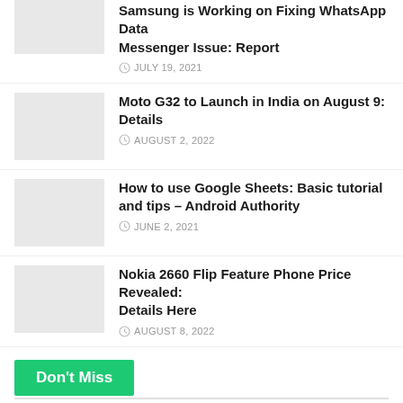Samsung is Working on Fixing WhatsApp Data Messenger Issue: Report
JULY 19, 2021
Moto G32 to Launch in India on August 9: Details
AUGUST 2, 2022
How to use Google Sheets: Basic tutorial and tips – Android Authority
JUNE 2, 2021
Nokia 2660 Flip Feature Phone Price Revealed: Details Here
AUGUST 8, 2022
Don't Miss
Vivo Partners With Schott for Vivo X80 Pro Featuring Xensation Up